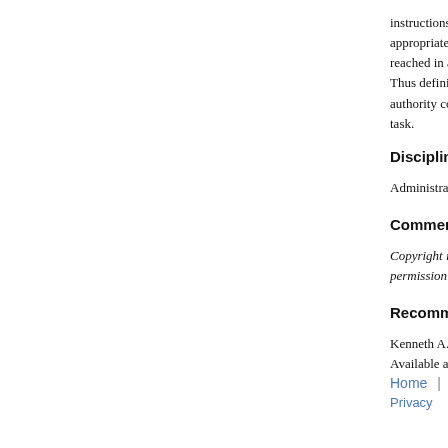instructions. In that oversight role, courts determine whether appropriate processes or reasonable conclusions were reached in a reasonable manner. Thus defining the areas of ambiguity within an agency's authority constitutes a – if not the – threshold task.
Disciplines
Administrative Law | Environment...
Comments
Copyright is owned by the Virginia Law Review. Reprinted with permission of the Virginia Law Review.
Recommended Citation
Kenneth A. Bamberger & Peter L. S...
Available at: https://scholarship.la...
Home | About | FAQ | M...
Privacy   Copyright